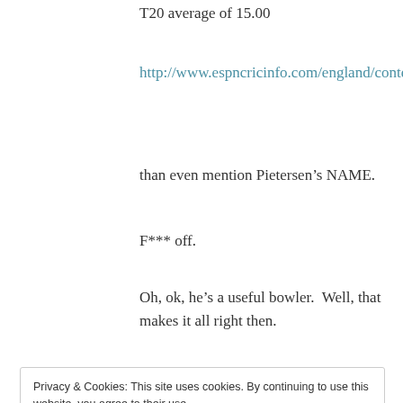T20 average of 15.00
http://www.espncricinfo.com/england/content/player/211855.html
than even mention Pietersen’s NAME.
F*** off.
Oh, ok, he’s a useful bowler. Well, that makes it all right then.
Privacy & Cookies: This site uses cookies. By continuing to use this website, you agree to their use. To find out more, including how to control cookies, see here: Cookie Policy
Close and accept